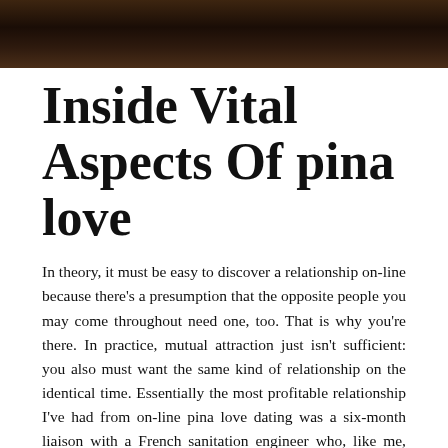[Figure (photo): Dark photograph strip showing a person, dimly lit with warm tones]
Inside Vital Aspects Of pina love
In theory, it must be easy to discover a relationship on-line because there's a presumption that the opposite people you may come throughout need one, too. That is why you're there. In practice, mutual attraction just isn't sufficient: you also must want the same kind of relationship on the identical time. Essentially the most profitable relationship I've had from on-line pina love dating was a six-month liaison with a French sanitation engineer who, like me, was at a transitional stage in life when he was pleasant however not involved in commitment. Having this in frequent with my ami avec des avantages was as essential for sustainability, if not more essential, than